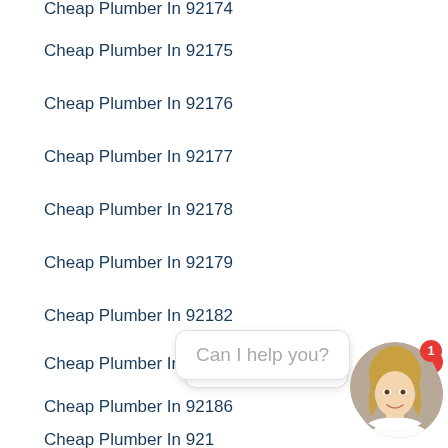Cheap Plumber In 92174
Cheap Plumber In 92175
Cheap Plumber In 92176
Cheap Plumber In 92177
Cheap Plumber In 92178
Cheap Plumber In 92179
Cheap Plumber In 92182
Cheap Plumber In 92184
Cheap Plumber In 92186
Cheap Plumber In 921…
Cheap Plumber In 92188
[Figure (photo): Chat widget with avatar of a blonde woman smiling, notification badge showing 1, and 'Can I help you?' bubble]